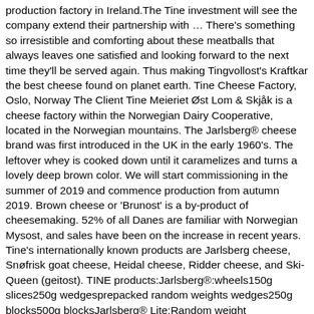production factory in Ireland.The Tine investment will see the company extend their partnership with … There's something so irresistible and comforting about these meatballs that always leaves one satisfied and looking forward to the next time they'll be served again. Thus making Tingvollost's Kraftkar the best cheese found on planet earth. Tine Cheese Factory, Oslo, Norway The Client Tine Meieriet Øst Lom & Skjåk is a cheese factory within the Norwegian Dairy Cooperative, located in the Norwegian mountains. The Jarlsberg® cheese brand was first introduced in the UK in the early 1960's. The leftover whey is cooked down until it caramelizes and turns a lovely deep brown color. We will start commissioning in the summer of 2019 and commence production from autumn 2019. Brown cheese or 'Brunost' is a by-product of cheesemaking. 52% of all Danes are familiar with Norwegian Mysost, and sales have been on the increase in recent years. Tine's internationally known products are Jarlsberg cheese, Snøfrisk goat cheese, Heidal cheese, Ridder cheese, and Ski-Queen (geitost). TINE products:Jarlsberg®:wheels150g slices250g wedgesprepacked random weights wedges250g blocks500g blocksJarlsberg® Lite:Random weight wedges150g slices, Ridder®Ski Queen®For more detail visit www.jarlsberg.com/au, Cantarella Bros. Pty. TINE's Jarlsberg cheese. Jarlsberg ® is a semi-soft cow's milk cheese with